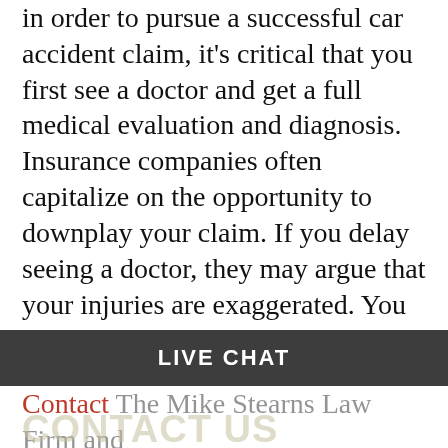in order to pursue a successful car accident claim, it's critical that you first see a doctor and get a full medical evaluation and diagnosis. Insurance companies often capitalize on the opportunity to downplay your claim. If you delay seeing a doctor, they may argue that your injuries are exaggerated. You should then speak to an experienced car accident attorney who can investigate your crash and negotiate for a fair financial settlement.
LIVE CHAT
Contact The Mike Stearns Law Firm and schedule your free case evaluation. We have law offices in Alabama, Maryland, Colorado,